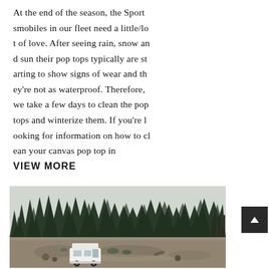At the end of the season, the Sportsmobiles in our fleet need a little/lot of love. After seeing rain, snow and sun their pop tops typically are starting to show signs of wear and they're not as waterproof. Therefore, we take a few days to clean the pop tops and winterize them. If you're looking for information on how to clean your canvas pop top in
VIEW MORE
[Figure (photo): A white camper van (Sportsmobile) parked in a cleared forest area surrounded by tall evergreen trees under an overcast sky.]